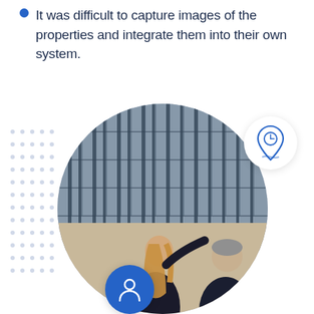It was difficult to capture images of the properties and integrate them into their own system.
[Figure (photo): Two business professionals (a woman with long blonde hair pointing at a modern glass building, and an older man in a dark suit) viewed from behind, with a circular crop. A dot grid pattern is on the left side. A white circular badge with a location/clock icon appears upper right. A blue circular badge with a person/user icon is visible at the bottom center.]